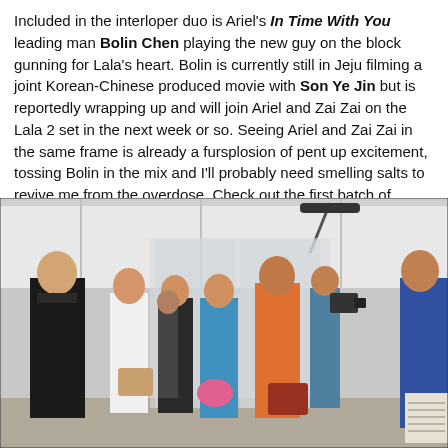Included in the interloper duo is Ariel's In Time With You leading man Bolin Chen playing the new guy on the block gunning for Lala's heart. Bolin is currently still in Jeju filming a joint Korean-Chinese produced movie with Son Ye Jin but is reportedly wrapping up and will join Ariel and Zai Zai on the Lala 2 set in the next week or so. Seeing Ariel and Zai Zai in the same frame is already a fursplosion of pent up excitement, tossing Bolin in the mix and I'll probably need smelling salts to revive me from the overdose. Check out the first batch of filming stills below.
[Figure (photo): Film set photo showing a group of people standing in a modern building interior. A man in a black suit on the left faces several women including one in white and one in orange. A cameraman with a boom mic is visible on the right. The scene appears to be a filming still from a drama or movie production.]